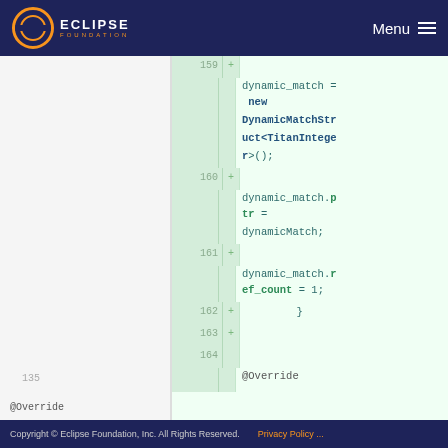Eclipse Foundation — Menu
[Figure (screenshot): Code diff view showing lines 159–164 with added lines (green highlight). New code includes: dynamic_match = new DynamicMatchStruct<TitanInteger>(); dynamic_match.ptr = dynamicMatch; dynamic_match.ref_count = 1; } and @Override on both sides.]
Copyright © Eclipse Foundation, Inc. All Rights Reserved.   Privacy Policy ...